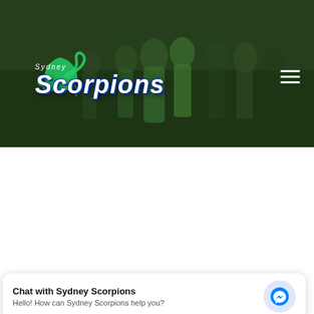[Figure (photo): Sydney Scorpions sports team banner with hero image of players in green uniforms celebrating, overlaid with the Sydney Scorpions logo (scorpion illustration with text 'Sydney Scorpions') and a hamburger menu icon in the top-right corner.]
[Figure (screenshot): Facebook 'Follow us on Facebook' widget showing Facebook logo circle and text 'Follow us on Facebook']
Follow us on Facebook
Chat with Sydney Scorpions
Hello! How can Sydney Scorpions help you?